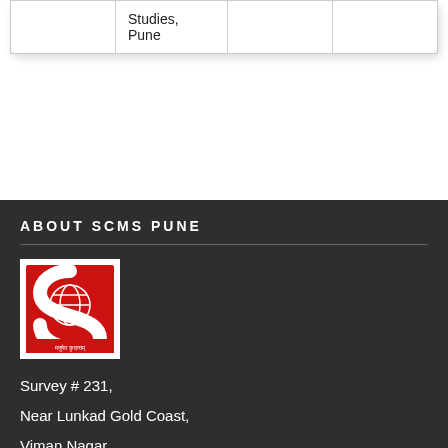|  | Studies, Pune |  |  |
ABOUT SCMS PUNE
[Figure (logo): SCMS Pune logo — red stylized S letter with globe, text in Devanagari script below]
Survey # 231,
Near Lunkad Gold Coast,
Viman Nagar,